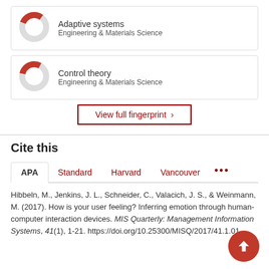[Figure (donut-chart): Donut chart for Adaptive systems, Engineering & Materials Science, approximately 30% filled in red]
[Figure (donut-chart): Donut chart for Control theory, Engineering & Materials Science, approximately 30% filled in red]
View full fingerprint >
Cite this
APA | Standard | Harvard | Vancouver | ...
Hibbeln, M., Jenkins, J. L., Schneider, C., Valacich, J. S., & Weinmann, M. (2017). How is your user feeling? Inferring emotion through human-computer interaction devices. MIS Quarterly: Management Information Systems, 41(1), 1-21. https://doi.org/10.25300/MISQ/2017/41.1.01